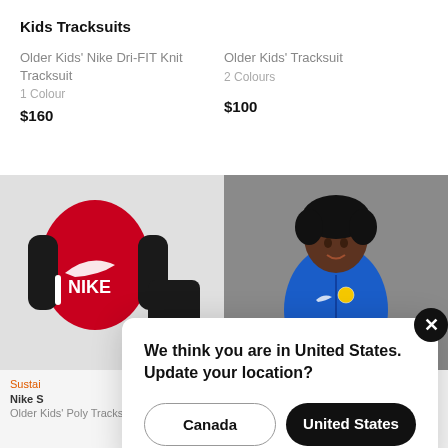Kids Tracksuits
Older Kids' Nike Dri-FIT Knit Tracksuit
1 Colour
$160
Older Kids' Tracksuit
2 Colours
$100
[Figure (photo): Red Nike Dri-FIT Knit top with black sleeves and black shorts with Nike logo on light grey background]
[Figure (photo): Young child wearing blue Chelsea FC tracksuit jacket on dark grey background]
Sustai
Nike S
Older Kids' Poly Tracksuit
Football Tracksuit
We think you are in United States. Update your location?
Canada
United States